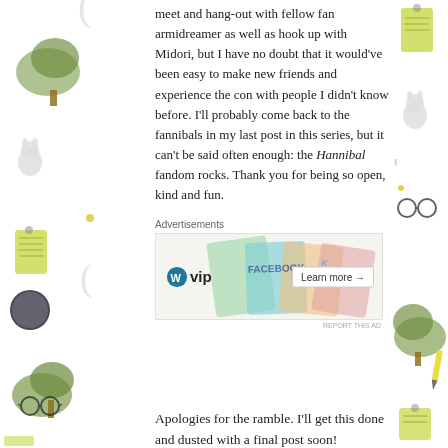meet and hang-out with fellow fan armidreamer as well as hook up with Midori, but I have no doubt that it would've been easy to make new friends and experience the con with people I didn't know before. I'll probably come back to the fannibals in my last post in this series, but it can't be said often enough: the Hannibal fandom rocks. Thank you for being so open, kind and fun.
Advertisements
[Figure (other): WordPress VIP advertisement banner with colorful social media card background and Learn more button]
Apologies for the ramble. I'll get this done and dusted with a final post soon!